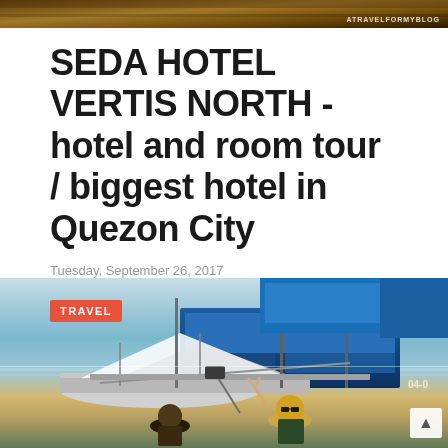[Figure (photo): Top banner image of a travel blog, dark brownish tones with watermark text on the right]
SEDA HOTEL VERTIS NORTH - hotel and room tour / biggest hotel in Quezon City
Tuesday, September 26, 2017
I think Seda Hotel in Vertis North is the biggest and luxurious hotel in Quezon City, they've...
Read more
[Figure (photo): Travel blog photo showing fishing boats docked at a harbor with people in the foreground. A red TRAVEL badge is overlaid on the image.]